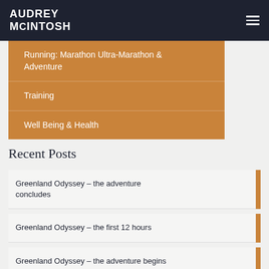AUDREY MCINTOSH
Running: Marathon Ultra-Marathon & Adventure
Training
Well Being & Health
Recent Posts
Greenland Odyssey – the adventure concludes
Greenland Odyssey – the first 12 hours
Greenland Odyssey – the adventure begins
Global Odyssey: Greenland prologue